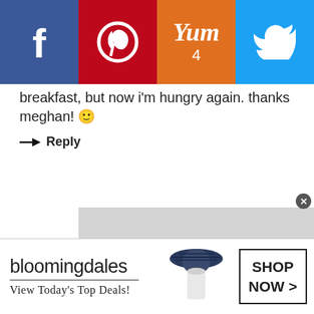[Figure (screenshot): Social sharing bar with Facebook, Pinterest, Yum (count: 4), and Twitter buttons]
breakfast, but now i'm hungry again. thanks meghan! 🙂
→ Reply
[Figure (screenshot): Bloomingdale's advertisement banner: 'bloomingdales / View Today's Top Deals!' with a woman in a hat and 'SHOP NOW >' button]